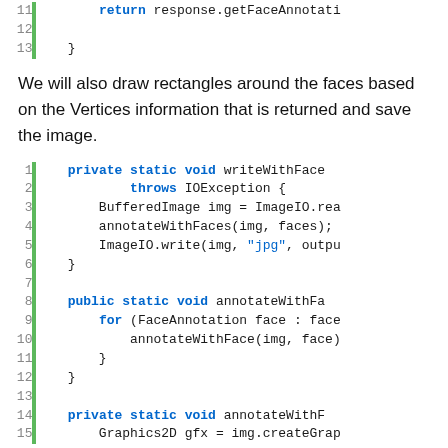[Figure (screenshot): Code snippet showing lines 11-13 with 'return response.getFaceAnnotati...' and closing brace]
We will also draw rectangles around the faces based on the Vertices information that is returned and save the image.
[Figure (screenshot): Code snippet showing lines 1-15 with Java methods: private static void writeWithFace throws IOException, BufferedImage img = ImageIO.rea, annotateWithFaces(img, faces), ImageIO.write(img, 'jpg', outpu), public static void annotateWithFa, for (FaceAnnotation face : face, annotateWithFace(img, face), private static void annotateWithF, Graphics2D gfx = img.createGrap]